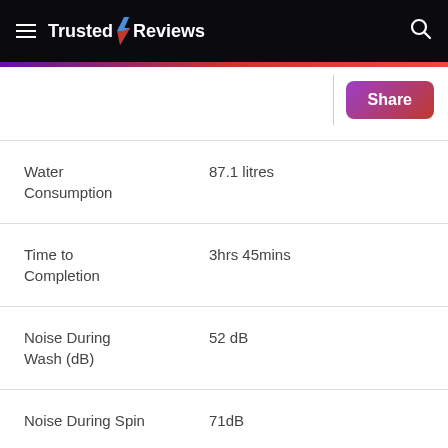Trusted Reviews
[Figure (logo): Trusted Reviews logo with lightning bolt icon in blue and red on black header bar]
| Specification | Value |
| --- | --- |
| Water Consumption | 87.1 litres |
| Time to Completion | 3hrs 45mins |
| Noise During Wash (dB) | 52 dB |
| Noise During Spin | 71dB |